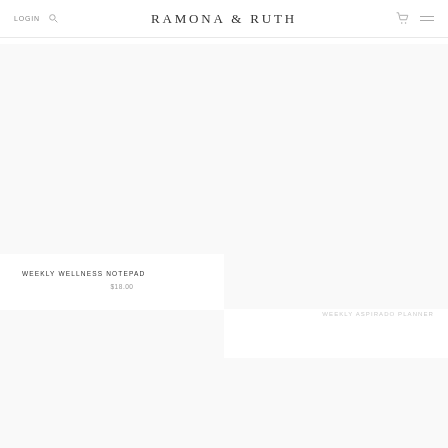LOGIN | RAMONA & RUTH | cart | menu
[Figure (photo): Product photo area top-left, blank/white]
[Figure (photo): Product photo area top-right, blank/white]
WEEKLY WELLNESS NOTEPAD
$18.00
WEEKLY ASPIRADO PLANNER
[Figure (photo): Product photo area bottom-left, blank/white]
[Figure (photo): Product photo area bottom-right, blank/white]